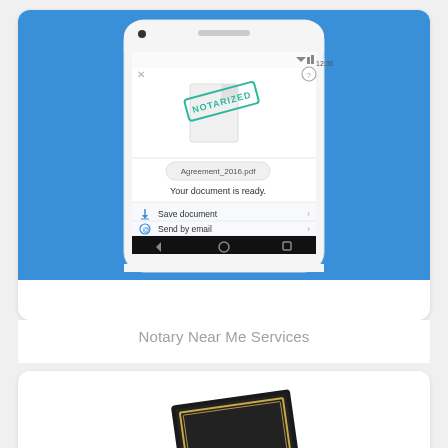[Figure (screenshot): Screenshot of a smartphone (Google Pixel) running a notary mobile app. The phone has a blue background. The app screen shows a document with a green 'NOTARIZED' stamp on it, labeled 'Agreement_2016.pdf' with the message 'Your document is ready.' Below are three action options: 'Save document', 'Send by email', and 'Send physically by mail', each with a right-pointing arrow. The phone has Android navigation buttons at the bottom.]
Notary Near Me Services
[Figure (photo): Partial view of what appears to be a dark-colored book or document with a gold/yellow border or emblem, partially visible at the bottom of the page.]